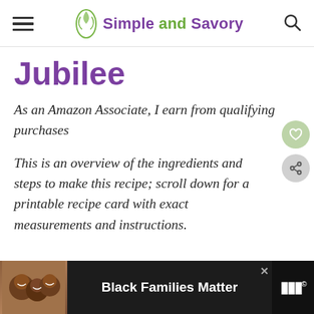Simple and Savory
Jubilee
As an Amazon Associate, I earn from qualifying purchases
This is an overview of the ingredients and steps to make this recipe; scroll down for a printable recipe card with exact measurements and instructions.
[Figure (infographic): Advertisement banner at bottom: photo of smiling people on left, text 'Black Families Matter' in center, close button, and logo on right]
Black Families Matter